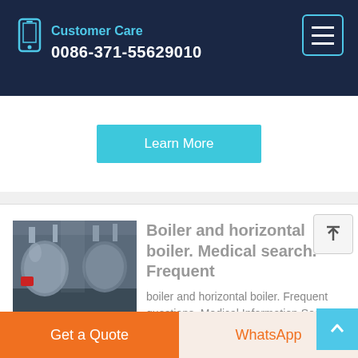Customer Care
0086-371-55629010
Learn More
[Figure (photo): Industrial boiler room with large cylindrical horizontal boilers and pipes]
Boiler and horizontal boiler. Medical search. Frequent
boiler and horizontal boiler. Frequent questions. Medical Information Search. English. English Español
Get a Quote
WhatsApp